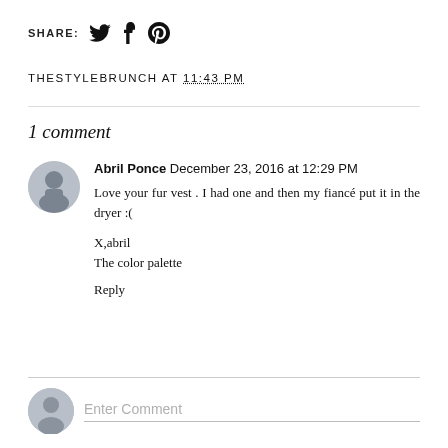SHARE:
THESTYLEBRUNCH AT 11:43 PM
1 comment
Abril Ponce  December 23, 2016 at 12:29 PM
Love your fur vest . I had one and then my fiancé put it in the dryer :(
X,abril
The color palette
Reply
Enter Comment